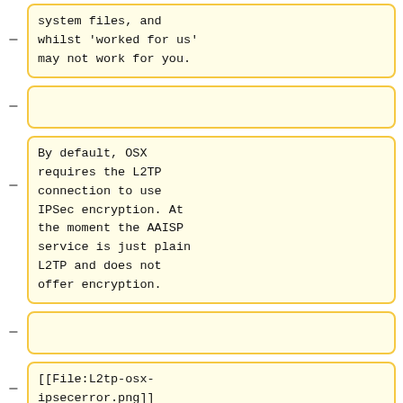system files, and whilst 'worked for us' may not work for you.
By default, OSX requires the L2TP connection to use IPSec encryption. At the moment the AAISP service is just plain L2TP and does not offer encryption.
[[File:L2tp-osx-ipsecerror.png]]
To enable OSX to connect without IPSec